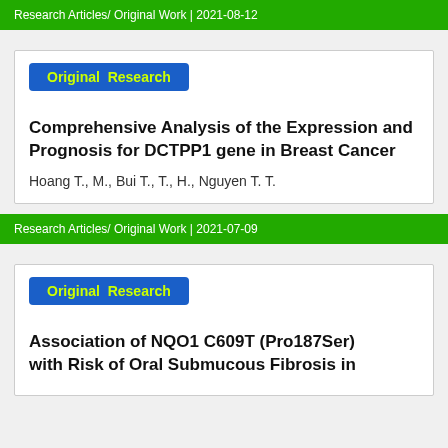Research Articles/ Original Work | 2021-08-12
Original Research
Comprehensive Analysis of the Expression and Prognosis for DCTPP1 gene in Breast Cancer
Hoang T., M., Bui T., T., H., Nguyen T. T.
Research Articles/ Original Work | 2021-07-09
Original Research
Association of NQO1 C609T (Pro187Ser) with Risk of Oral Submucous Fibrosis in